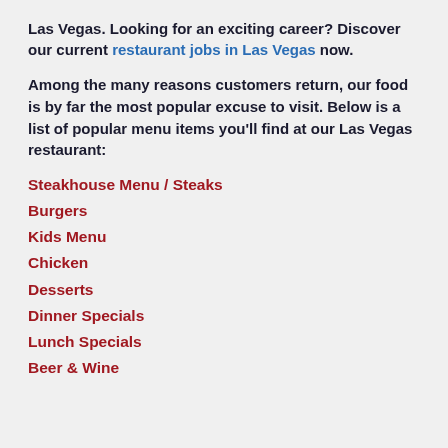Las Vegas. Looking for an exciting career? Discover our current restaurant jobs in Las Vegas now.
Among the many reasons customers return, our food is by far the most popular excuse to visit. Below is a list of popular menu items you'll find at our Las Vegas restaurant:
Steakhouse Menu / Steaks
Burgers
Kids Menu
Chicken
Desserts
Dinner Specials
Lunch Specials
Beer & Wine